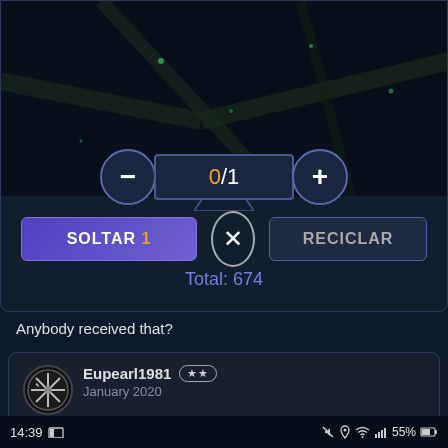[Figure (screenshot): Dark-themed mobile game UI panel showing a map area at top with dark background, a counter widget showing 0/1 with minus and plus buttons, action buttons SOLTAR 1, X close button, and RECICLAR, plus a Total: 674 display]
0/1
SOLTAR 1
RECICLAR
Total: 674
Anybody received that?
Eupearl1981
January 2020
14:39  55%